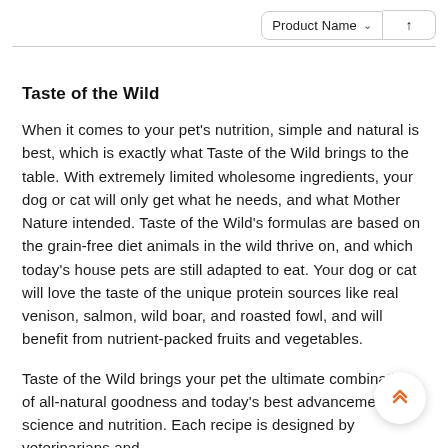Product Name ↑
Taste of the Wild
When it comes to your pet's nutrition, simple and natural is best, which is exactly what Taste of the Wild brings to the table. With extremely limited wholesome ingredients, your dog or cat will only get what he needs, and what Mother Nature intended. Taste of the Wild's formulas are based on the grain-free diet animals in the wild thrive on, and which today's house pets are still adapted to eat. Your dog or cat will love the taste of the unique protein sources like real venison, salmon, wild boar, and roasted fowl, and will benefit from nutrient-packed fruits and vegetables.
Taste of the Wild brings your pet the ultimate combination of all-natural goodness and today's best advancements in science and nutrition. Each recipe is designed by veterinarians and